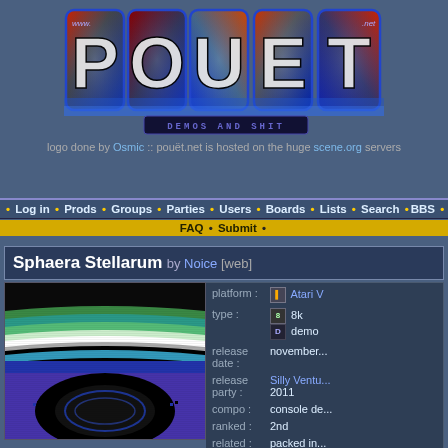[Figure (logo): Pouet.net logo with large stylized letters P O U E T on metallic tiles with blue glow, red accents, and a 'DEMOS AND SHIT' tagline bar beneath]
logo done by Osmic :: pouët.net is hosted on the huge scene.org servers
• Log in • Prods • Groups • Parties • Users • Boards • Lists • Search • BBS •
FAQ • Submit •
Sphaera Stellarum by Noice [web]
[Figure (screenshot): Screenshot of the Atari demo showing colorful horizontal bands (green, teal, white, black) at top and a large black oval/eye shape on purple/blue background with pixelated rendering]
| field | value |
| --- | --- |
| platform : | Atari V... |
| type : | 8k / demo |
| release date : | november... |
| release party : | Silly Ventu... 2011 |
| compo : | console de... |
| ranked : | 2nd |
| related : | packed in... |